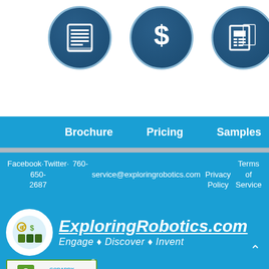[Figure (infographic): Row of circular dark blue icons on white background: document/brochure icon, dollar sign icon, newspaper/samples icon, and partially visible fourth icon]
Brochure   Pricing   Samples   Sta...
Facebook · Twitter · 760-650-2687   service@exploringrobotics.com   Privacy Policy   Terms of Service
[Figure (logo): ExploringRobotics.com logo with circular icon and text: ExploringRobotics.com / Engage • Discover • Invent]
[Figure (other): GoDaddy Verified & Secured seal with green lock icon and VERIFY SECURITY text]